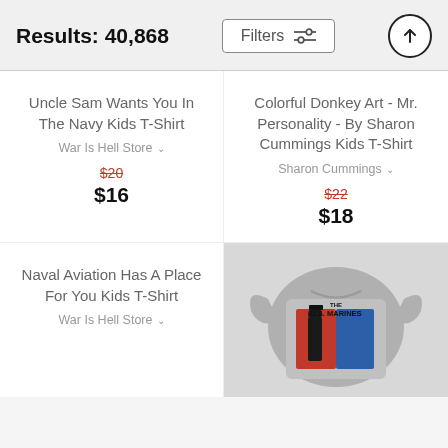Results: 40,868
Uncle Sam Wants You In The Navy Kids T-Shirt
War Is Hell Store
$20
$16
Colorful Donkey Art - Mr. Personality - By Sharon Cummings Kids T-Shirt
Sharon Cummings
$22
$18
Naval Aviation Has A Place For You Kids T-Shirt
War Is Hell Store
[Figure (photo): Gray kids t-shirt with U.S. Marines graphic design showing a marine in uniform on a red and blue background]